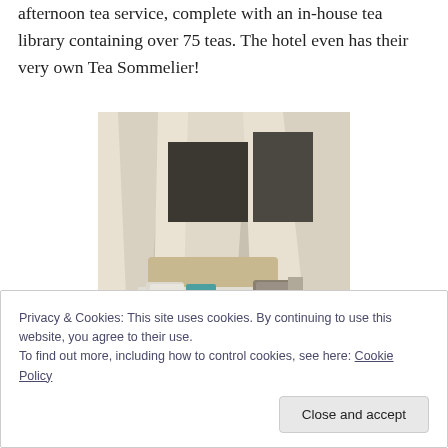afternoon tea service, complete with an in-house tea library containing over 75 teas. The hotel even has their very own Tea Sommelier!
[Figure (photo): A hotel bedroom with a four-poster bed draped in white sheer curtains. The bed has light-colored upholstered headboard and teal accent pillows. A sofa or chair with patterned cushions is visible in the background.]
Privacy & Cookies: This site uses cookies. By continuing to use this website, you agree to their use.
To find out more, including how to control cookies, see here: Cookie Policy